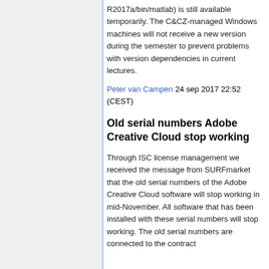R2017a/bin/matlab) is still available temporarily. The C&CZ-managed Windows machines will not receive a new version during the semester to prevent problems with version dependencies in current lectures.
Peter van Campen 24 sep 2017 22:52 (CEST)
Old serial numbers Adobe Creative Cloud stop working
Through ISC license management we received the message from SURFmarket that the old serial numbers of the Adobe Creative Cloud software will stop working in mid-November. All software that has been installed with these serial numbers will stop working. The old serial numbers are connected to the contract